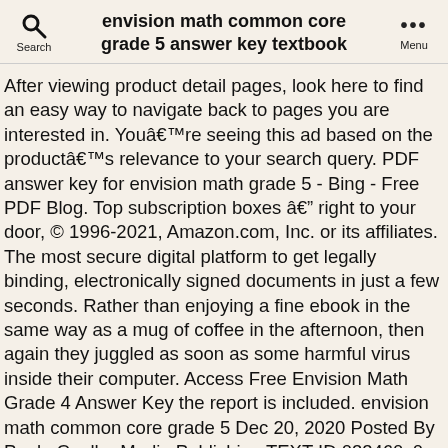envision math common core grade 5 answer key textbook
After viewing product detail pages, look here to find an easy way to navigate back to pages you are interested in. Youâre seeing this ad based on the productâs relevance to your search query. PDF answer key for envision math grade 5 - Bing - Free PDF Blog. Top subscription boxes â right to your door, © 1996-2021, Amazon.com, Inc. or its affiliates. The most secure digital platform to get legally binding, electronically signed documents in just a few seconds. Rather than enjoying a fine ebook in the same way as a mug of coffee in the afternoon, then again they juggled as soon as some harmful virus inside their computer. Access Free Envision Math Grade 4 Answer Key the report is included. envision math common core grade 5 Dec 20, 2020 Posted By Paulo Coelho Media Publishing TEXT ID 033460c0 Online PDF Ebook Epub Library grade envision math curriculum map canyons school math grade 5 ixl skill